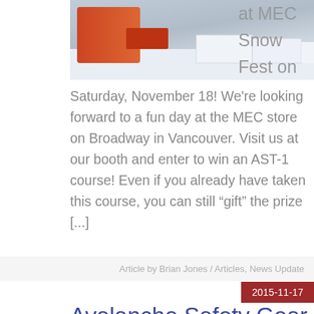[Figure (photo): Person in orange jacket working in snow, cropped view showing hands and snow surface]
at MEC Snow Fest on Saturday, November 18! We're looking forward to a fun day at the MEC store on Broadway in Vancouver. Visit us at our booth and enter to win an AST-1 course! Even if you already have taken this course, you can still “gift” the prize [...]
Article by Brian Jones / Articles, News Update
2015-11-17
Avalanche Safety Gear contest
[Figure (photo): Person in red jacket in snowy mountain landscape]
We are